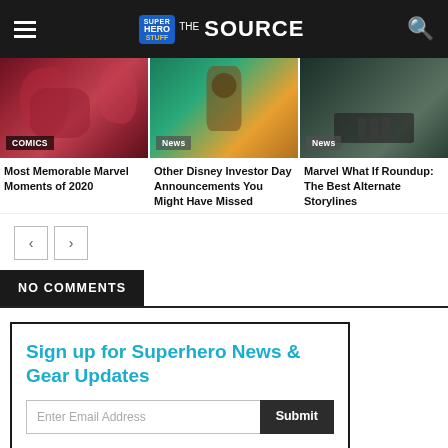Super Hero Stuff THE SOURCE
[Figure (photo): Marvel comics artwork showing superheroes with COMICS badge]
[Figure (photo): Groot figurine with bright background and News badge]
[Figure (photo): Dark scene with figures and News badge]
Most Memorable Marvel Moments of 2020
Other Disney Investor Day Announcements You Might Have Missed
Marvel What If Roundup: The Best Alternate Storylines
NO COMMENTS
Sign up for Superhero News & Gear Updates
Enter Email Address